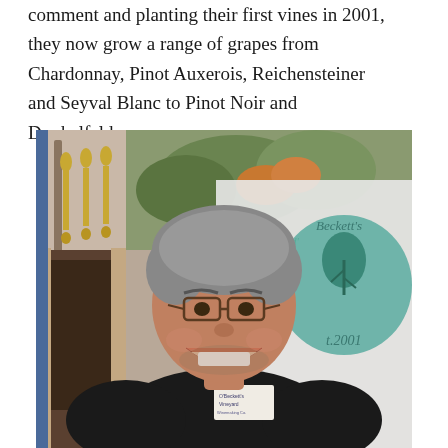comment and planting their first vines in 2001, they now grow a range of grapes from Chardonnay, Pinot Auxerois, Reichensteiner and Seyval Blanc to Pinot Noir and Dunkelfelder.
[Figure (photo): A smiling middle-aged man with grey hair, wearing a black polo shirt with a name badge reading 'O'Beckett's Vineyard', standing in front of a promotional banner for 'O'Beckett's Vineyard est. 2001' featuring a teal leaf logo. The background includes ornate gold architectural details.]